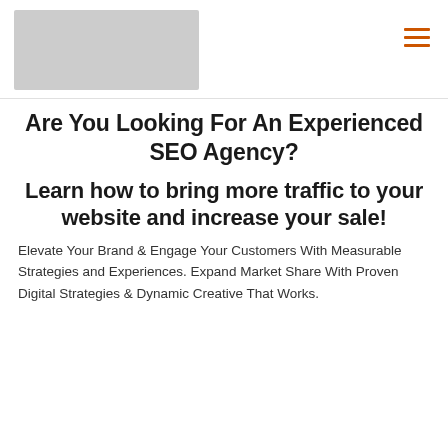[Figure (logo): Gray rectangle placeholder for logo in top-left header area]
Are You Looking For An Experienced SEO Agency?
Learn how to bring more traffic to your website and increase your sale!
Elevate Your Brand & Engage Your Customers With Measurable Strategies and Experiences. Expand Market Share With Proven Digital Strategies & Dynamic Creative That Works.